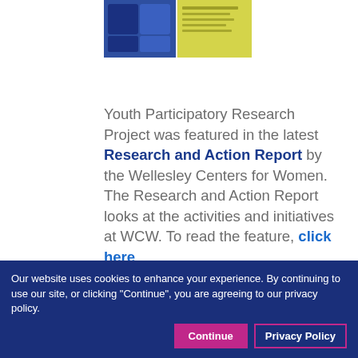[Figure (photo): Thumbnail image of a publication cover with blue and yellow/green colors]
Youth Participatory Research Project was featured in the latest Research and Action Report by the Wellesley Centers for Women. The Research and Action Report looks at the activities and initiatives at WCW. To read the feature, click here.
[Figure (infographic): Social media icons for Facebook (dark blue), Twitter (light blue), and LinkedIn (dark blue)]
Our website uses cookies to enhance your experience. By continuing to use our site, or clicking "Continue", you are agreeing to our privacy policy.